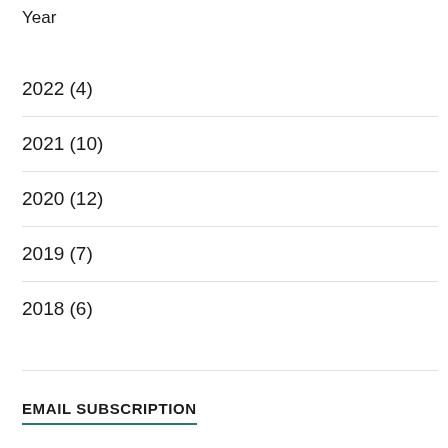Year
2022 (4)
2021 (10)
2020 (12)
2019 (7)
2018 (6)
EMAIL SUBSCRIPTION